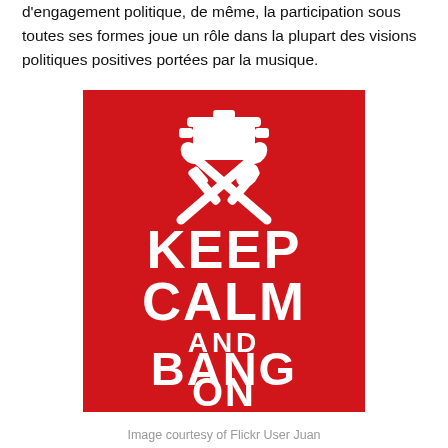d'engagement politique, de même, la participation sous toutes ses formes joue un rôle dans la plupart des visions politiques positives portées par la musique.
[Figure (illustration): Red 'Keep Calm and Bang On' poster with cooking pot and crossed utensils icon in white on red background.]
Image courtesy of Flickr User Juan